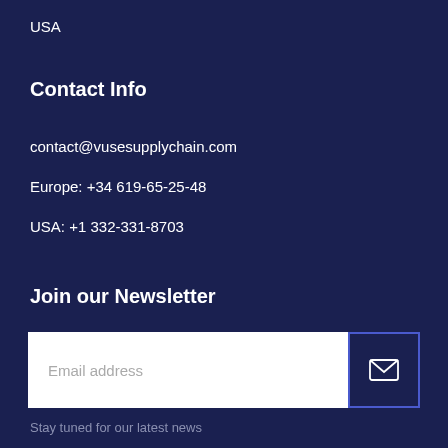USA
Contact Info
contact@vusesupplychain.com
Europe: +34 619-65-25-48
USA: +1 332-331-8703
Join our Newsletter
[Figure (other): Email address input field with placeholder text 'Email address' and a submit button with envelope icon]
Stay tuned for our latest news